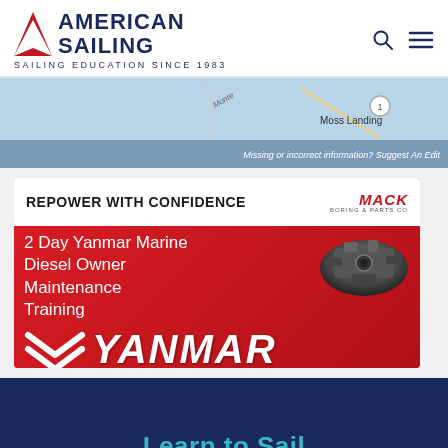[Figure (logo): American Sailing logo with red chevron/sail icon and text AMERICAN SAILING, SAILING EDUCATION SINCE 1983]
[Figure (map): Partial map showing Moss Landing area with blue background and location marker]
Missing or incorrect information? Suggest An Edit
[Figure (illustration): Mack Boring & Parts Co advertisement for Yanmar Marine 2 Day Diesel Owner Maintenance Training. White top bar with REPOWER WITH CONFIDENCE and Mack logo. Red background with white text: 2 Day Yanmar Marine Diesel Owner Maintenance Training. Engine photo on right. Yanmar logo with chevrons. RESERVE YOUR SPOT FOR THIS HANDS ON TRAINING OPPORTUNITY.]
Learn to Sail